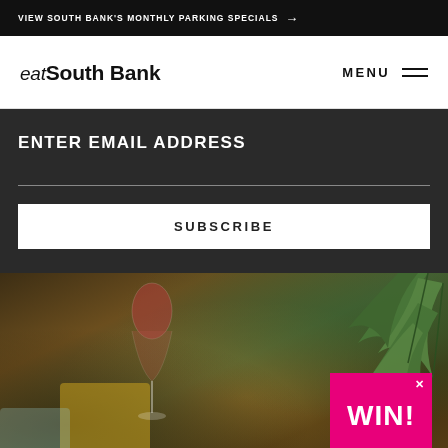VIEW SOUTH BANK'S MONTHLY PARKING SPECIALS →
eat South Bank
MENU
ENTER EMAIL ADDRESS
SUBSCRIBE
[Figure (photo): Restaurant interior photo showing a wine glass, yellow chairs, and tropical plant. A hot pink WIN! popup overlay appears in the bottom right corner.]